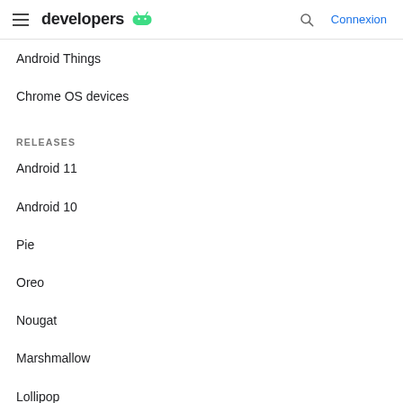developers
Android Things
Chrome OS devices
RELEASES
Android 11
Android 10
Pie
Oreo
Nougat
Marshmallow
Lollipop
KitKat
DOCUMENTATION AND DOWNLOADS